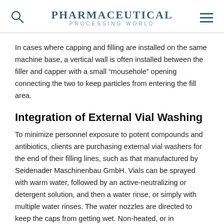PHARMACEUTICAL PROCESSING WORLD
In cases where capping and filling are installed on the same machine base, a vertical wall is often installed between the filler and capper with a small “mousehole” opening connecting the two to keep particles from entering the fill area.
Integration of External Vial Washing
To minimize personnel exposure to potent compounds and antibiotics, clients are purchasing external vial washers for the end of their filling lines, such as that manufactured by Seidenader Maschinenbau GmbH. Vials can be sprayed with warm water, followed by an active-neutralizing or detergent solution, and then a water rinse, or simply with multiple water rinses. The water nozzles are directed to keep the caps from getting wet. Non-heated, or in